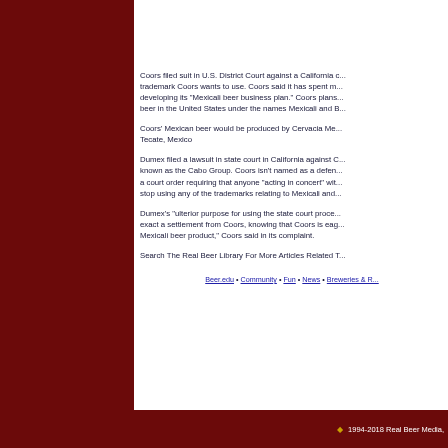Coors filed suit in U.S. District Court against a California company over a trademark Coors wants to use. Coors said it has spent millions of dollars developing its "Mexicali beer business plan." Coors plans to sell Mexican beer in the United States under the names Mexicali and B...
Coors' Mexican beer would be produced by Cervacia Me... Tecate, Mexico
Dumex filed a lawsuit in state court in California against C... known as the Cabo Group. Coors isn't named as a defendant, but there is a court order requiring that anyone "acting in concert" with... stop using any of the trademarks relating to Mexicali and...
Dumex's "ulterior purpose for using the state court proce... exact a settlement from Coors, knowing that Coors is eag... Mexicali beer product," Coors said in its complaint.
Search The Real Beer Library For More Articles Related T...
Beer.edu • Community • Fun • News • Breweries & R...
◆ 1994-2018 Real Beer Media,